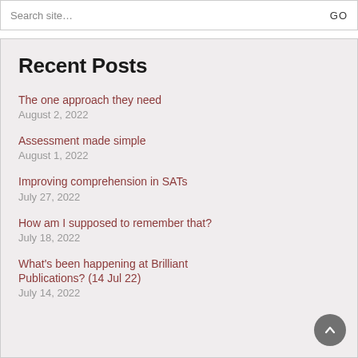Search site...  GO
Recent Posts
The one approach they need
August 2, 2022
Assessment made simple
August 1, 2022
Improving comprehension in SATs
July 27, 2022
How am I supposed to remember that?
July 18, 2022
What's been happening at Brilliant Publications? (14 Jul 22)
July 14, 2022